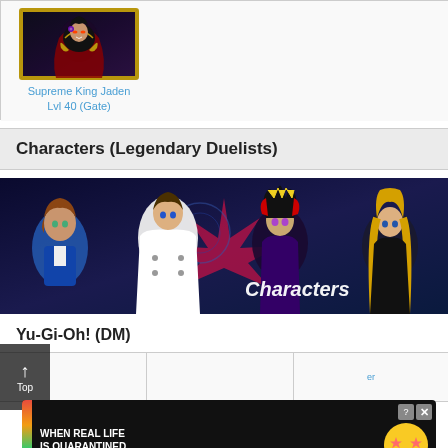[Figure (illustration): Supreme King Jaden character card image with dark armor and gold trim]
Supreme King Jaden
Lvl 40 (Gate)
Characters (Legendary Duelists)
[Figure (illustration): Yu-Gi-Oh! characters banner showing four main characters including Yugi with spiky tri-color hair, Kaiba in white coat, and others. Text reads 'Characters' on the right side.]
Yu-Gi-Oh! (DM)
[Figure (illustration): BitLife advertisement banner: rainbow stripe on left, text 'WHEN REAL LIFE IS QUARANTINED' with BitLife logo and star-eyes emoji. Close button with ? and X icons.]